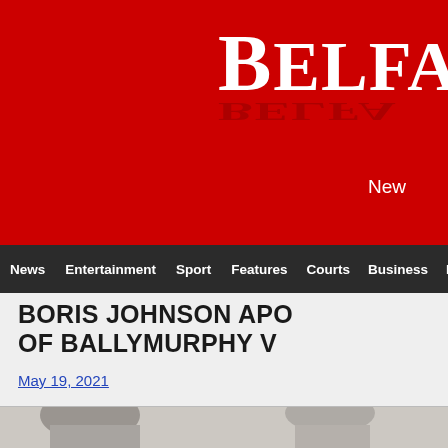Belfast News
News | Entertainment | Sport | Features | Courts | Business | Health
BORIS JOHNSON APO OF BALLYMURPHY V
May 19, 2021
[Figure (photo): Black and white photographs of Ballymurphy victims]